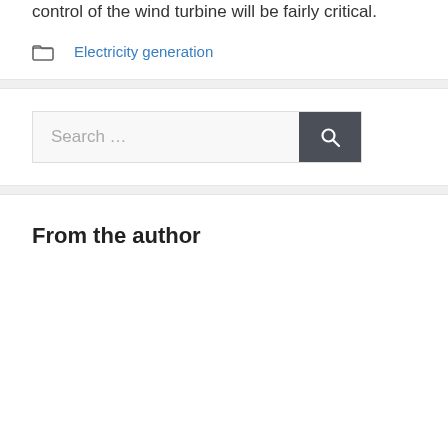control of the wind turbine will be fairly critical.
Electricity generation
Search …
From the author